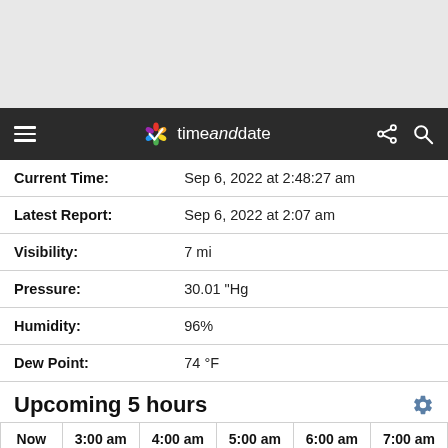timeanddate
| Field | Value |
| --- | --- |
| Current Time: | Sep 6, 2022 at 2:48:27 am |
| Latest Report: | Sep 6, 2022 at 2:07 am |
| Visibility: | 7 mi |
| Pressure: | 30.01 "Hg |
| Humidity: | 96% |
| Dew Point: | 74 °F |
Upcoming 5 hours
| Now | 3:00 am | 4:00 am | 5:00 am | 6:00 am | 7:00 am |
| --- | --- | --- | --- | --- | --- |
| [icon] | [icon] | [icon] | [icon] | [icon] | [icon] |